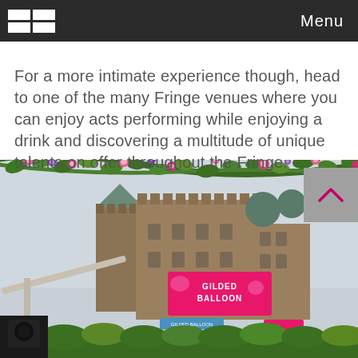Menu
For a more intimate experience though, head to one of the many Fringe venues where you can enjoy acts performing while enjoying a drink and discovering a multitude of unique talents on offer throughout the Fringe.
[Figure (photo): Photo of Edinburgh castle building with Gilded Balloon pink banner, flower garland arch in foreground with pink and purple flowers and green leaves, taken from a low angle looking up.]